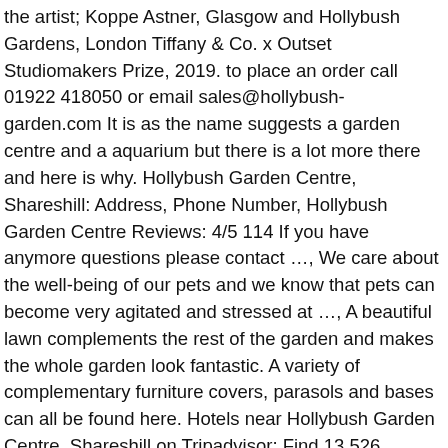the artist; Koppe Astner, Glasgow and Hollybush Gardens, London Tiffany & Co. x Outset Studiomakers Prize, 2019. to place an order call 01922 418050 or email sales@hollybush-garden.com It is as the name suggests a garden centre and a aquarium but there is a lot more there and here is why. Hollybush Garden Centre, Shareshill: Address, Phone Number, Hollybush Garden Centre Reviews: 4/5 114 If you have anymore questions please contact …, We care about the well-being of our pets and we know that pets can become very agitated and stressed at …, A beautiful lawn complements the rest of the garden and makes the whole garden look fantastic. A variety of complementary furniture covers, parasols and bases can all be found here. Hotels near Hollybush Garden Centre, Shareshill on Tripadvisor: Find 13,526 traveler reviews, 34 candid photos, and prices for 1,013 hotels near Hollybush Garden Centre in Shareshill, England. A little girl couldn't visit our Grotto today because she was isolating, so Santa face-timed her instead 🎄🎄🎄 We hope this will be a thing of the past in 2021, but so glad she was still able to have